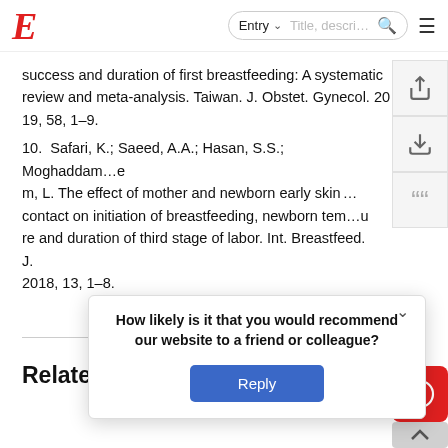E | Entry  [search bar]  [menu icon]
success and duration of first breastfeeding: A systematic review and meta-analysis. Taiwan. J. Obstet. Gynecol. 2019, 58, 1–9.
10. Safari, K.; Saeed, A.A.; Hasan, S.S.; Moghaddam …; m, L. The effect of mother and newborn early skin … contact on initiation of breastfeeding, newborn tem… re and duration of third stage of labor. Int. Breastfeed. J. 2018, 13, 1–8.
More ❯❯
Related
How likely is it that you would recommend our website to a friend or colleague?
Reply